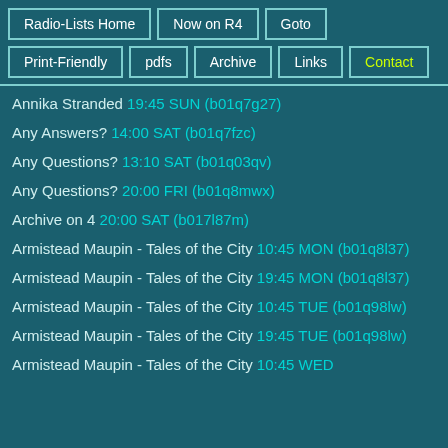Radio-Lists Home
Now on R4
Goto
Print-Friendly
pdfs
Archive
Links
Contact
Annika Stranded 19:45 SUN (b01q7g27)
Any Answers? 14:00 SAT (b01q7fzc)
Any Questions? 13:10 SAT (b01q03qv)
Any Questions? 20:00 FRI (b01q8mwx)
Archive on 4 20:00 SAT (b017l87m)
Armistead Maupin - Tales of the City 10:45 MON (b01q8l37)
Armistead Maupin - Tales of the City 19:45 MON (b01q8l37)
Armistead Maupin - Tales of the City 10:45 TUE (b01q98lw)
Armistead Maupin - Tales of the City 19:45 TUE (b01q98lw)
Armistead Maupin - Tales of the City 10:45 WED (b01q98qw)